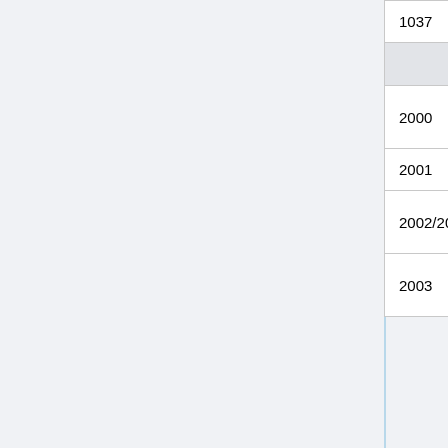| ID | Description | Extra |
| --- | --- | --- |
| 1037 | closed |  |
| Particle |  |  |
| 2000 | Spawns 10 smoke particles, e.g. from a fire | Direction, see below |
| 2001 | Block break + block break sound | Block ID |
| 2002/2007 | Splash potion. Particle effect + glass break sound. | Potion ID |
| 2003 | Eye of Ender entity break animation — particles and |  |